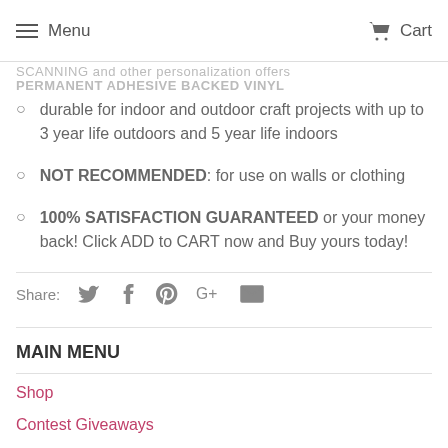Menu | Cart
SCANNING and other personalization offers
PERMANENT ADHESIVE BACKED VINYL
durable for indoor and outdoor craft projects with up to 3 year life outdoors and 5 year life indoors
NOT RECOMMENDED: for use on walls or clothing
100% SATISFACTION GUARANTEED or your money back! Click ADD to CART now and Buy yours today!
Share:
MAIN MENU
Shop
Contest Giveaways